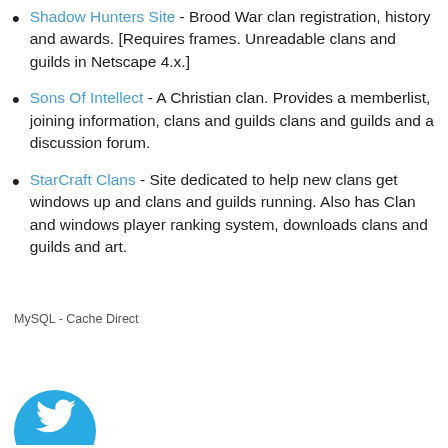Shadow Hunters Site - Brood War clan registration, history and awards. [Requires frames. Unreadable clans and guilds in Netscape 4.x.]
Sons Of Intellect - A Christian clan. Provides a memberlist, joining information, clans and guilds clans and guilds and a discussion forum.
StarCraft Clans - Site dedicated to help new clans get windows up and clans and guilds running. Also has Clan and windows player ranking system, downloads clans and guilds and art.
MySQL - Cache Direct
[Figure (logo): Partial teal/cyan Twitter bird logo icon visible at bottom left corner]